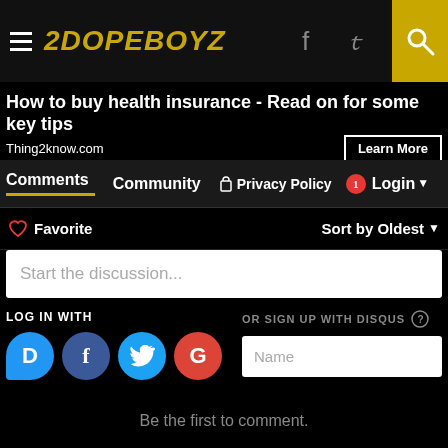2DOPEBOYZ
How to buy health insurance - Read on for some key tips
Thing2know.com
Comments | Community | Privacy Policy | Login
Favorite | Sort by Oldest
Start the discussion...
LOG IN WITH
OR SIGN UP WITH DISQUS
Name
Be the first to comment.